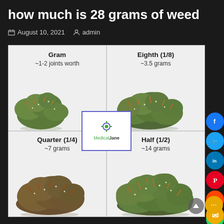how much is 28 grams of weed
August 10, 2021  admin
[Figure (infographic): A 2x2 grid infographic showing different cannabis quantities: Gram (~1-2 joints worth), Eighth 1/8 (~3.5 grams), Quarter 1/4 (~7 grams), Half 1/2 (~14 grams). Each cell shows a photo of the respective cannabis amount on a white background. A MedicalJane logo overlay appears at the center of the grid. Social sharing buttons (Facebook, Twitter, LinkedIn, Pinterest, Reddit, WhatsApp, Email) appear on the right edge.]